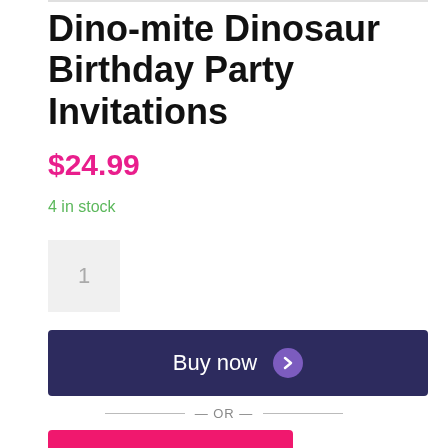Dino-mite Dinosaur Birthday Party Invitations
$24.99
4 in stock
1
Buy now
— OR —
ADD TO CART